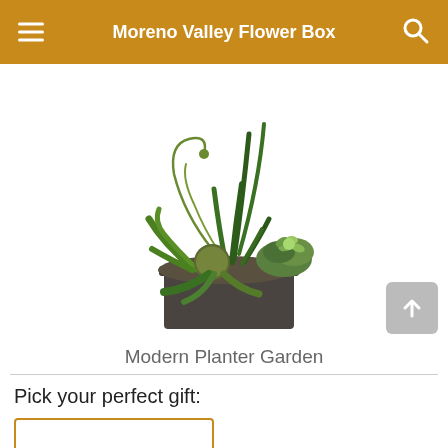Moreno Valley Flower Box
[Figure (photo): A modern planter garden arrangement featuring tall snake plants, curling stems, bromeliad, succulents, and various tropical foliage in a dark rectangular container on a white background.]
Modern Planter Garden
Pick your perfect gift: